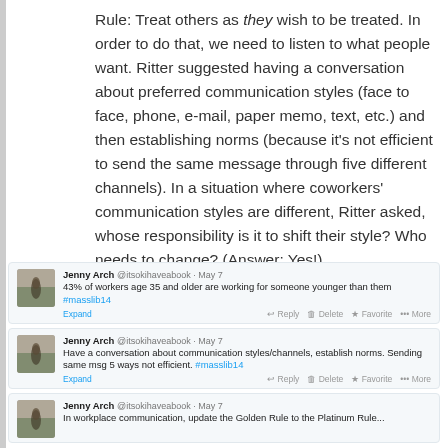Rule: Treat others as they wish to be treated. In order to do that, we need to listen to what people want. Ritter suggested having a conversation about preferred communication styles (face to face, phone, e-mail, paper memo, text, etc.) and then establishing norms (because it's not efficient to send the same message through five different channels). In a situation where coworkers' communication styles are different, Ritter asked, whose responsibility is it to shift their style? Who needs to change? (Answer: Yes!)
[Figure (screenshot): Three tweets from Jenny Arch (@itsokihaveabook) dated May 7 about workplace communication and generational statistics from #masslib14]